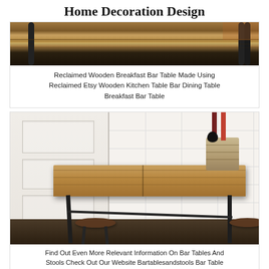Home Decoration Design
[Figure (photo): Reclaimed wooden breakfast bar table with black pipe legs, viewed from above at an angle]
Reclaimed Wooden Breakfast Bar Table Made Using Reclaimed Etsy Wooden Kitchen Table Bar Dining Table Breakfast Bar Table
[Figure (photo): Industrial breakfast bar table with wooden top and black metal legs, with two round brown stools underneath, placed against a white panelled wall with a white door on the left, with a wicker basket and bottles on the table surface]
Find Out Even More Relevant Information On Bar Tables And Stools Check Out Our Website Bartablesandstools Bar Table Breakfast Bar Chairs Bar Table Diy